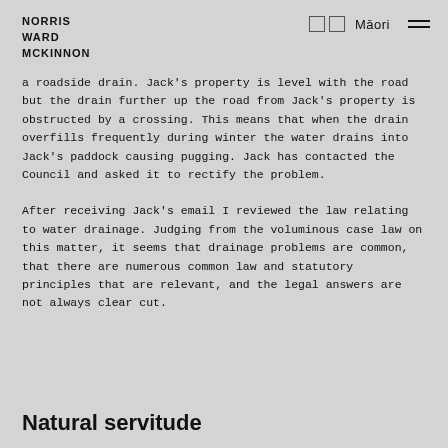NORRIS WARD MCKINNON | □□ Māori
a roadside drain. Jack's property is level with the road but the drain further up the road from Jack's property is obstructed by a crossing. This means that when the drain overfills frequently during winter the water drains into Jack's paddock causing pugging. Jack has contacted the Council and asked it to rectify the problem.
After receiving Jack's email I reviewed the law relating to water drainage. Judging from the voluminous case law on this matter, it seems that drainage problems are common, that there are numerous common law and statutory principles that are relevant, and the legal answers are not always clear cut.
Natural servitude